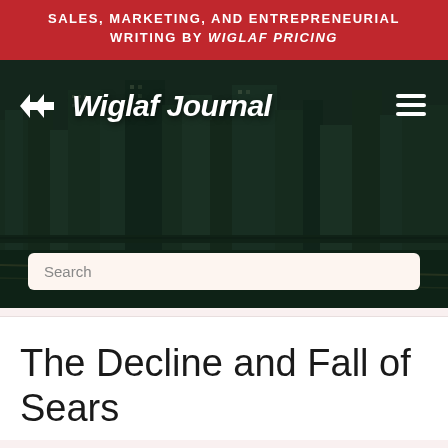SALES, MARKETING, AND ENTREPRENEURIAL WRITING BY WIGLAF PRICING
[Figure (screenshot): Wiglaf Journal website header with logo, navigation hamburger menu, city skyline background image, and search bar]
The Decline and Fall of Sears